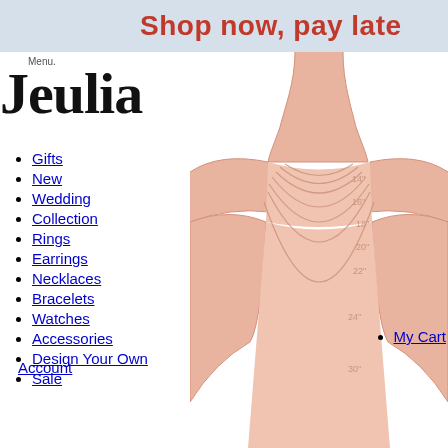Shop now, pay late
Jeulia
Gifts
New
Wedding
Collection
Rings
Earrings
Necklaces
Bracelets
Watches
Accessories
Design Your Own
Sale
Account
[Figure (illustration): Necklace length guide showing a woman's neckline silhouette with multiple necklace lengths labeled 14", 16", 18", 20", 22", 24", 30"]
My Cart